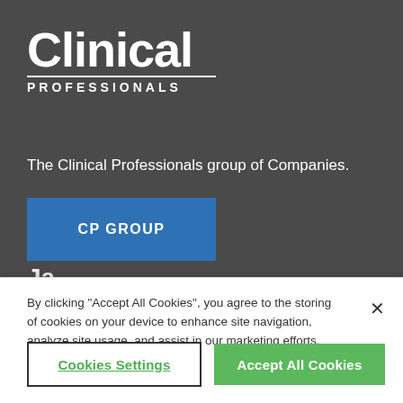[Figure (logo): Clinical Professionals logo: large bold white 'Clinical' text with a horizontal rule, and 'PROFESSIONALS' in spaced capitals beneath, on dark grey background]
The Clinical Professionals group of Companies.
CP GROUP
By clicking "Accept All Cookies", you agree to the storing of cookies on your device to enhance site navigation, analyze site usage, and assist in our marketing efforts.
Cookies Settings
Accept All Cookies